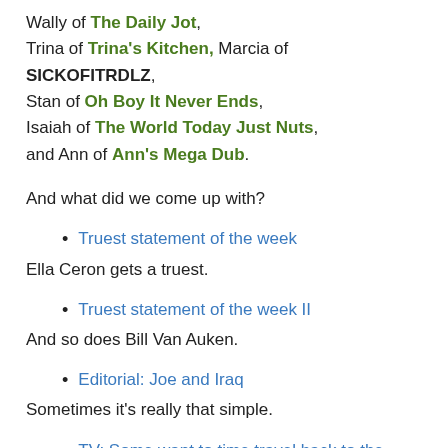Wally of The Daily Jot, Trina of Trina's Kitchen, Marcia of SICKOFITRDLZ, Stan of Oh Boy It Never Ends, Isaiah of The World Today Just Nuts, and Ann of Ann's Mega Dub.
And what did we come up with?
Truest statement of the week
Ella Ceron gets a truest.
Truest statement of the week II
And so does Bill Van Auken.
Editorial: Joe and Iraq
Sometimes it's really that simple.
TV: Some want to time travel back to the sexist pa...
Ava and C.I. cover Biden.